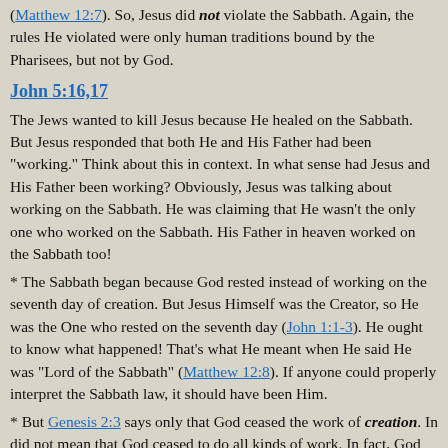(Matthew 12:7). So, Jesus did not violate the Sabbath. Again, the rules He violated were only human traditions bound by the Pharisees, but not by God.
John 5:16,17
The Jews wanted to kill Jesus because He healed on the Sabbath. But Jesus responded that both He and His Father had been "working." Think about this in context. In what sense had Jesus and His Father been working? Obviously, Jesus was talking about working on the Sabbath. He was claiming that He wasn't the only one who worked on the Sabbath. His Father in heaven worked on the Sabbath too!
* The Sabbath began because God rested instead of working on the seventh day of creation. But Jesus Himself was the Creator, so He was the One who rested on the seventh day (John 1:1-3). He ought to know what happened! That's what He meant when He said He was "Lord of the Sabbath" (Matthew 12:8). If anyone could properly interpret the Sabbath law, it should have been Him.
* But Genesis 2:3 says only that God ceased the work of creation. In did not mean that God ceased to do all kinds of work. In fact, God has always continued to work on the Sabbath. He gives every good gift (James 1:17; Cf. Acts 17:25,28; 14:17; Matthew 5:45). He upholds all things by the word of His power (Colossians 1:17; Nehemiah 9:6; Hebrews 1:3). If God were to cease working even for a day, the world would cease to exist! The creation is being...